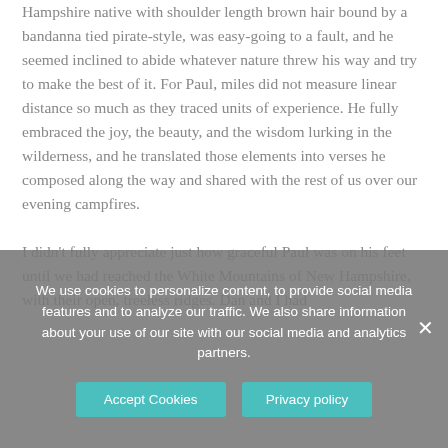Hampshire native with shoulder length brown hair bound by a bandanna tied pirate-style, was easy-going to a fault, and he seemed inclined to abide whatever nature threw his way and try to make the best of it. For Paul, miles did not measure linear distance so much as they traced units of experience. He fully embraced the joy, the beauty, and the wisdom lurking in the wilderness, and he translated those elements into verses he composed along the way and shared with the rest of us over our evening campfires.

I didn't fully appreciate just how graceful Paul was on his feet until we had reached the White Mountains of New Hampshire, with their open, treeless ridges. Dan and I had
We use cookies to personalize content, to provide social media features and to analyze our traffic. We also share information about your use of our site with our social media and analytics partners.
Accept Cookies   Privacy policy